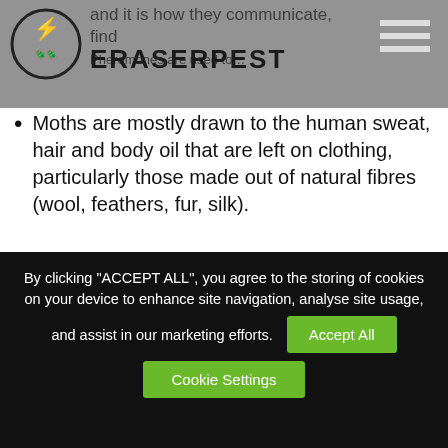and it is how they communicate, find | ERASERPEST
Moths are mostly drawn to the human sweat, hair and body oil that are left on clothing, particularly those made out of natural fibres (wool, feathers, fur, silk).
How to get rid of moths?
Regular vacuuming is one of the most effect ways to deal with moths, for effective results vacuum under furniture and inside cupboards,
By clicking "ACCEPT ALL", you agree to the storing of cookies on your device to enhance site navigation, analyse site usage, and assist in our marketing efforts.